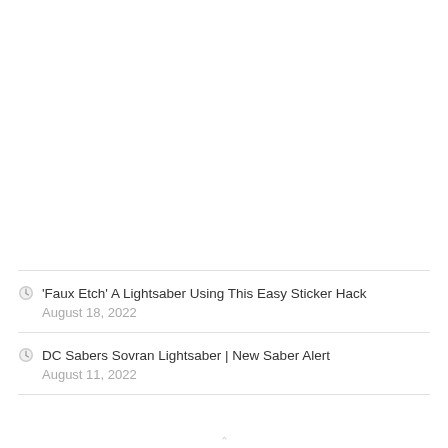'Faux Etch' A Lightsaber Using This Easy Sticker Hack
August 18, 2022
DC Sabers Sovran Lightsaber | New Saber Alert
August 11, 2022